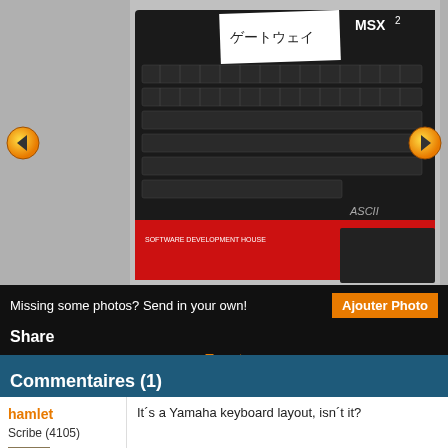[Figure (photo): Photo of an MSX2 computer/keyboard (black keyboard with Japanese text label, red box underneath labeled SOFTWARE DEVELOPMENT HOUSE, ASCII branding visible), displayed on gray background with left and right navigation arrows]
Missing some photos? Send in your own!
Ajouter Photo
Share
Tweet
Commentaires (1)
Par hamlet
Scribe (4105)
It´s a Yamaha keyboard layout, isn´t it?